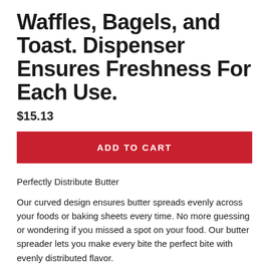Waffles, Bagels, and Toast. Dispenser Ensures Freshness For Each Use.
$15.13
ADD TO CART
Perfectly Distribute Butter
Our curved design ensures butter spreads evenly across your foods or baking sheets every time. No more guessing or wondering if you missed a spot on your food. Our butter spreader lets you make every bite the perfect bite with evenly distributed flavor.